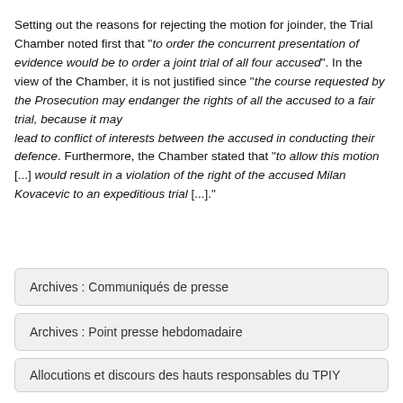Setting out the reasons for rejecting the motion for joinder, the Trial Chamber noted first that "to order the concurrent presentation of evidence would be to order a joint trial of all four accused". In the view of the Chamber, it is not justified since "the course requested by the Prosecution may endanger the rights of all the accused to a fair trial, because it may lead to conflict of interests between the accused in conducting their defence. Furthermore, the Chamber stated that "to allow this motion [...] would result in a violation of the right of the accused Milan Kovacevic to an expeditious trial [...]."
Archives : Communiqués de presse
Archives : Point presse hebdomadaire
Allocutions et discours des hauts responsables du TPIY